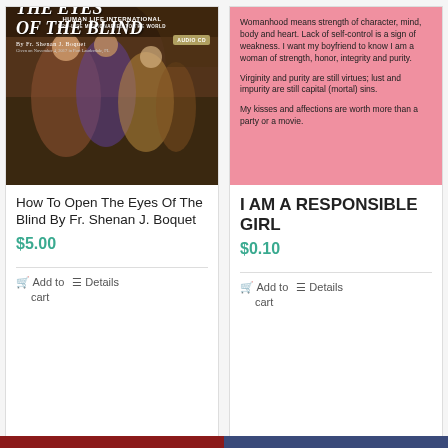[Figure (illustration): Book/audio CD cover for 'How To Open The Eyes Of The Blind' by Fr. Shenan J. Boquet, Human Life International, with a classical painting background and AUDIO CD badge]
How To Open The Eyes Of The Blind By Fr. Shenan J. Boquet
$5.00
Add to cart
Details
[Figure (illustration): Pink background card with text about womanhood, virginity, and responsibility]
Womanhood means strength of character, mind, body and heart. Lack of self-control is a sign of weakness. I want my boyfriend to know I am a woman of strength, honor, integrity and purity.

Virginity and purity are still virtues; lust and impurity are still capital (mortal) sins.

My kisses and affections are worth more than a party or a movie.
I AM A RESPONSIBLE GIRL
$0.10
Add to cart
Details